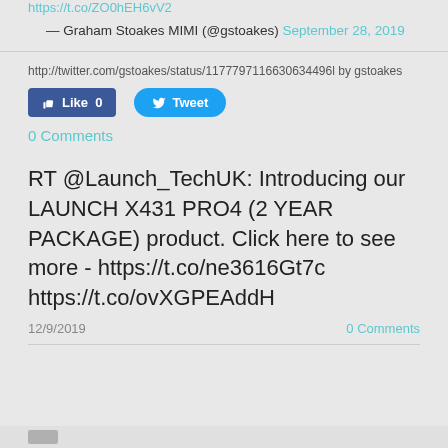https://t.co/ZO0hEH6vV2
— Graham Stoakes MIMI (@gstoakes) September 28, 2019
http://twitter.com/gstoakes/status/1177797116630634496l by gstoakes
[Figure (screenshot): Like 0 button (Facebook blue) and Tweet button (Twitter blue)]
0 Comments
RT @Launch_TechUK: Introducing our LAUNCH X431 PRO4 (2 YEAR PACKAGE) product. Click here to see more - https://t.co/ne3616Gt7c https://t.co/ovXGPEAddH
12/9/2019
0 Comments